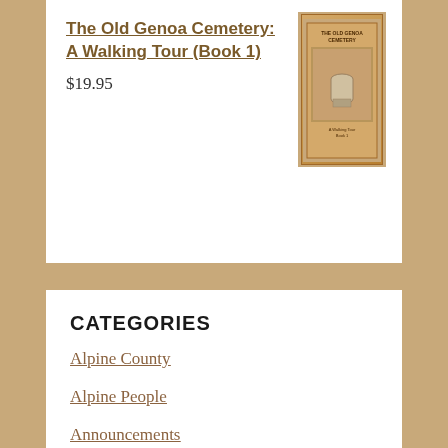The Old Genoa Cemetery: A Walking Tour (Book 1)
$19.95
[Figure (photo): Thumbnail book cover for 'The Old Genoa Cemetery: A Walking Tour (Book 1)', tan/brown cover with image of cemetery]
CATEGORIES
Alpine County
Alpine People
Announcements
California History
Carson Valley